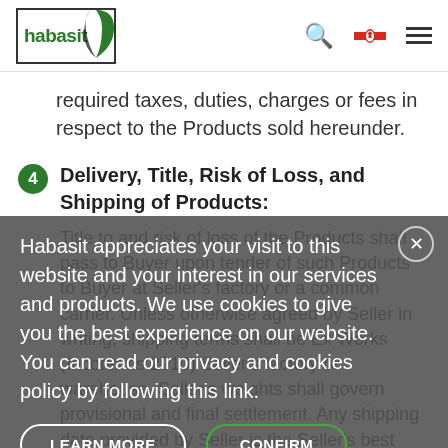habasit [logo] [search] [CA flag] [menu]
required taxes, duties, charges or fees in respect to the Products sold hereunder.
4  Delivery, Title, Risk of Loss, and Shipping of Products:
Title to and risk of loss of the Products shall pass to Buyer upon tender of such Products to Buyer at Seller's factory or a common carrier. Unless otherwise agreed by Seller in writing, shipping terms shall be Ex Works (Incoterms 2010) Seller's factory or warehouse. Seller's weights shall govern provisional and final settlement. Any shipping date provided by Seller is the Seller's best estimate and
Habasit appreciates your visit to this website and your interest in our services and products. We use cookies to give you the best experience on our website. You can read our privacy and cookies policy by following this link.